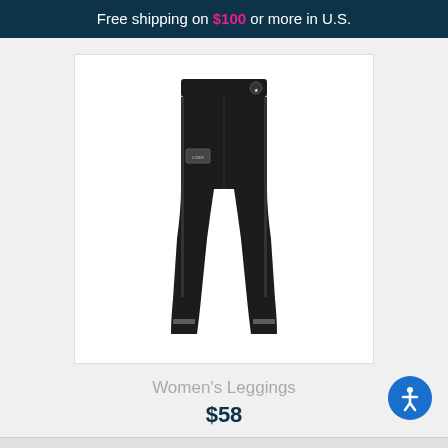Free shipping on $100 or more in U.S.
[Figure (photo): Black women's athletic leggings with white logo patch on hip and white stripe detail at ankle]
Women's Leggings
$58